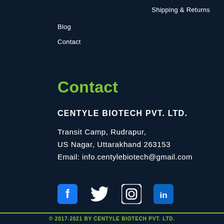Shipping & Returns
Blog
Contact
Contact
CENTYLE BIOTECH PVT. LTD.
Transit Camp, Rudrapur,
US Nagar, Uttarakhand 263153
Email: info.centylebiotech@gmail.com
[Figure (infographic): Social media icons: Facebook (blue square with f), Twitter (bird logo), Instagram (camera outline), LinkedIn (blue square with in)]
© 2017-2021 BY CENTYLE BIOTECH PVT. LTD.